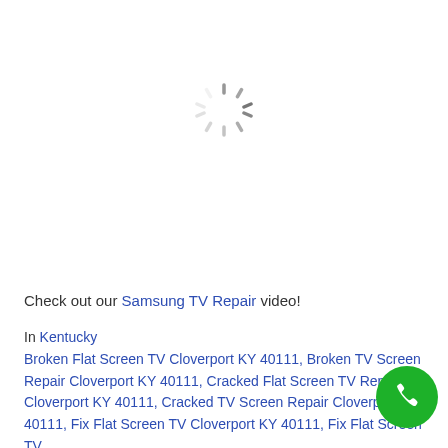[Figure (other): Loading spinner icon — circular dashed spokes pattern in gray]
Check out our Samsung TV Repair video!
In Kentucky
Broken Flat Screen TV Cloverport KY 40111, Broken TV Screen Repair Cloverport KY 40111, Cracked Flat Screen TV Repair Cloverport KY 40111, Cracked TV Screen Repair Cloverport KY 40111, Fix Flat Screen TV Cloverport KY 40111, Fix Flat Screen TV